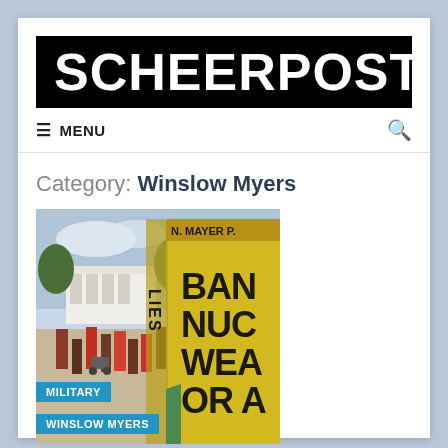SCHEERPOST
≡ MENU
Category: Winslow Myers
[Figure (photo): Protest photo showing people near a large yellow sign reading 'BAN NUC WEA OR A' with 'LIES' written on the side, taken in front of what appears to be the White House area with trees and crowd in background.]
MILITARY
WINSLOW MYERS